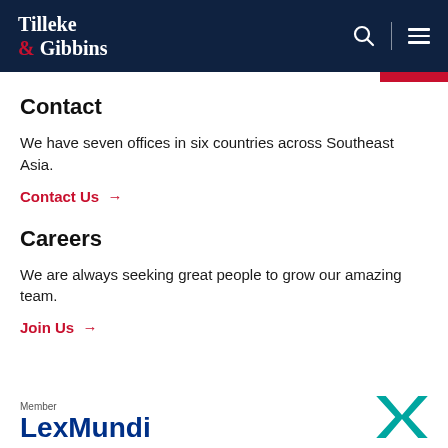Tilleke & Gibbins
Contact
We have seven offices in six countries across Southeast Asia.
Contact Us →
Careers
We are always seeking great people to grow our amazing team.
Join Us →
[Figure (logo): LexMundi member logo with stylized X mark in teal/green color]